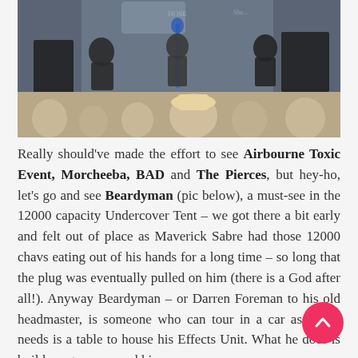[Figure (photo): Outdoor music festival concert photo showing a band performing on stage with audience members in the foreground. Multiple musicians visible on stage with instruments and equipment. A blue microphone stand is visible in the center. The background shows large backdrop/screen. Crowd heads visible at bottom.]
Really should've made the effort to see Airbourne Toxic Event, Morcheeba, BAD and The Pierces, but hey-ho, let's go and see Beardyman (pic below), a must-see in the 12000 capacity Undercover Tent – we got there a bit early and felt out of place as Maverick Sabre had those 12000 chavs eating out of his hands for a long time – so long that the plug was eventually pulled on him (there is a God after all!). Anyway Beardyman – or Darren Foreman to his old headmaster, is someone who can tour in a car as all he needs is a table to house his Effects Unit. What he does is build songs up around his